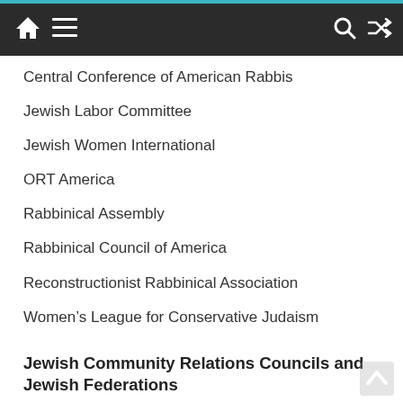Navigation bar with home, menu, search, and shuffle icons
Central Conference of American Rabbis
Jewish Labor Committee
Jewish Women International
ORT America
Rabbinical Assembly
Rabbinical Council of America
Reconstructionist Rabbinical Association
Women's League for Conservative Judaism
Jewish Community Relations Councils and Jewish Federations